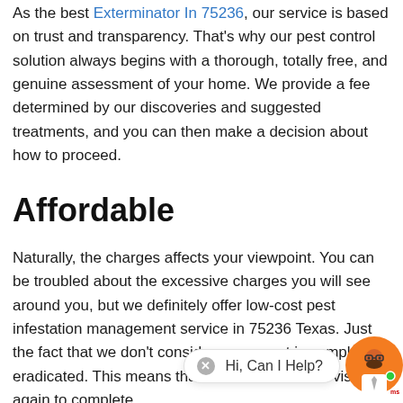As the best Exterminator In 75236, our service is based on trust and transparency. That's why our pest control solution always begins with a thorough, totally free, and genuine assessment of your home. We provide a fee determined by our discoveries and suggested treatments, and you can then make a decision about how to proceed.
Affordable
Naturally, the charges affects your viewpoint. You can be troubled about the excessive charges you will see around you, but we definitely offer low-cost pest infestation management service in 75236 Texas. Just the fact that we don't consider every pest is completely eradicated. This means that should we have to visit you again to complete